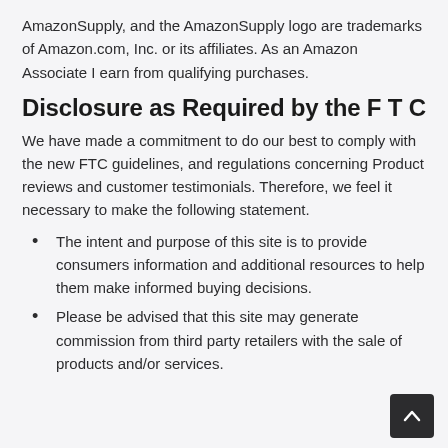AmazonSupply, and the AmazonSupply logo are trademarks of Amazon.com, Inc. or its affiliates. As an Amazon Associate I earn from qualifying purchases.
Disclosure as Required by the FTC
We have made a commitment to do our best to comply with the new FTC guidelines, and regulations concerning Product reviews and customer testimonials. Therefore, we feel it necessary to make the following statement.
The intent and purpose of this site is to provide consumers information and additional resources to help them make informed buying decisions.
Please be advised that this site may generate commission from third party retailers with the sale of products and/or services.